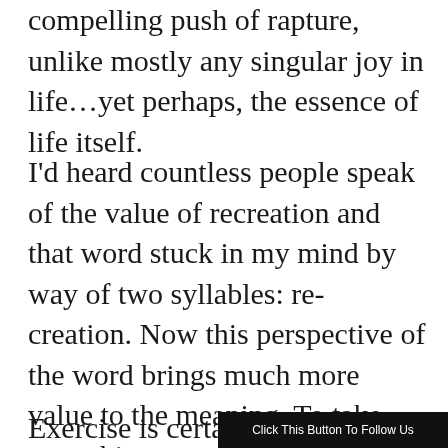corner of just out of reach was such a compelling push of rapture, unlike mostly any singular joy in life…yet perhaps, the essence of life itself.
I'd heard countless people speak of the value of recreation and that word stuck in my mind by way of two syllables: re-creation. Now this perspective of the word brings much more value to the meaning. To take something mundane and make it new, to transform routines into revelations, ennui to enthusiasm.
Exercise is certainly a fo...
Click This Button To Follow Us